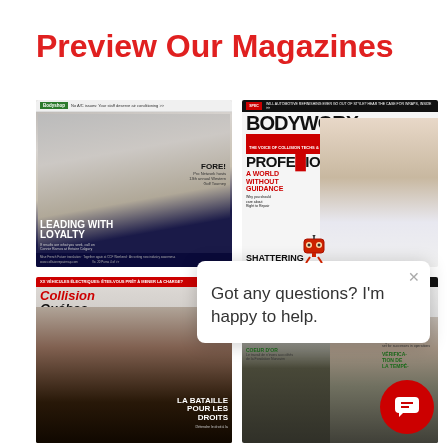Preview Our Magazines
[Figure (photo): Collision Repair Magazine cover featuring a woman with blonde hair, text 'LEADING WITH LOYALTY', 'FORE!' and other magazine content]
[Figure (photo): BODYWORX PROFESSIONAL magazine cover featuring a woman in racing gear, text 'A WORLD WITHOUT GUIDANCE', 'SHATTERING']
[Figure (photo): Collision Québec magazine cover featuring a man, text 'CollisionQuébec', 'LA BATAILLE POUR LES DROITS']
[Figure (photo): Canadian autoRecycler magazine cover featuring a man, text 'HEARTS OF GOLD', 'COEUR D'OR', 'PANDEMIC LEARNING LESSONS']
Got any questions? I'm happy to help.